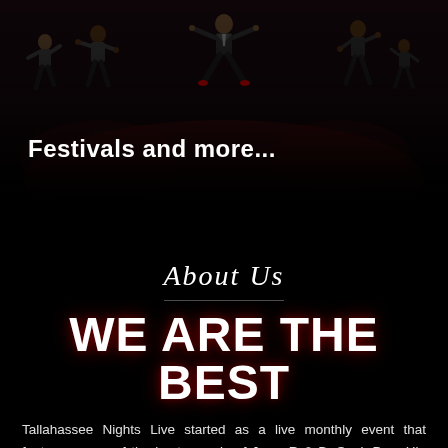[Figure (photo): Group of male performers in suits dancing energetically on a dark stage]
Festivals and more...
About Us
WE ARE THE BEST
Tallahassee Nights Live started as a live monthly event that features some of the best sounds of Jazz, R & B, Soul, Pop, Hip Hop, Dance, Expressed Spoken Words, and